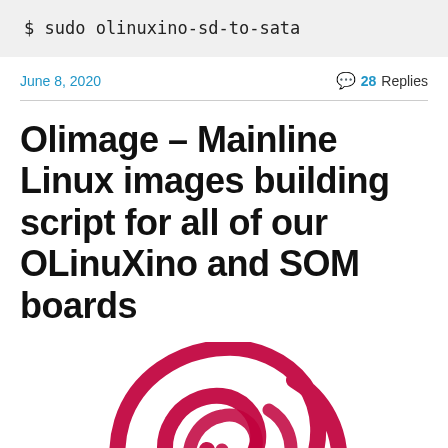$ sudo olinuxino-sd-to-sata
June 8, 2020
28 Replies
Olimage – Mainline Linux images building script for all of our OLinuXino and SOM boards
[Figure (logo): Debian swirl logo in red/dark pink color, partial view showing the top and center of the spiral]